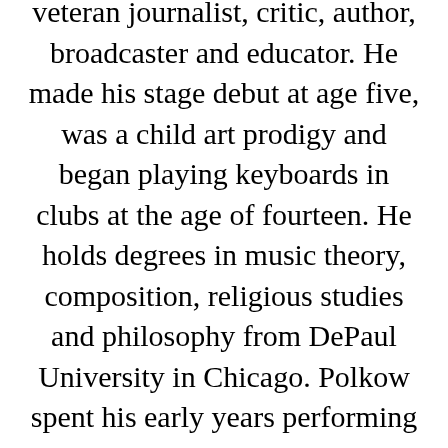veteran journalist, critic, author, broadcaster and educator. He made his stage debut at age five, was a child art prodigy and began playing keyboards in clubs at the age of fourteen. He holds degrees in music theory, composition, religious studies and philosophy from DePaul University in Chicago. Polkow spent his early years performing and recording in rock and jazz bands while concertizing as a classical pianist, organist and harpsichordist and composing, arranging and producing for other artists. As a scholar, Polkow has published and lectured extensively and taught at several colleges and universities in various departments. As an actor